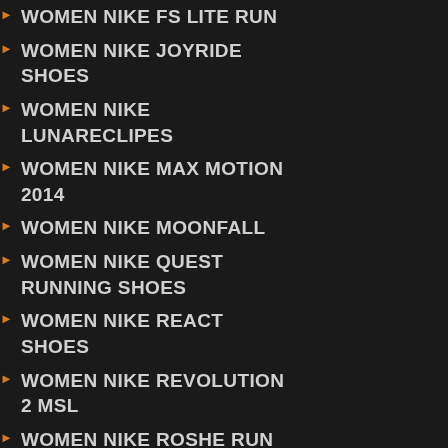WOMEN NIKE FS LITE RUN
WOMEN NIKE JOYRIDE SHOES
WOMEN NIKE LUNARECLIPES
WOMEN NIKE MAX MOTION 2014
WOMEN NIKE MOONFALL
WOMEN NIKE QUEST RUNNING SHOES
WOMEN NIKE REACT SHOES
WOMEN NIKE REVOLUTION 2 MSL
WOMEN NIKE ROSHE RUN
WOMEN NIKE SB STEFAN JANOSKI MAX
WOMEN NIKE SHOX CURRENT
WOMEN NIKE SHOX NZ
WOMEN NIKE SHOX OZ